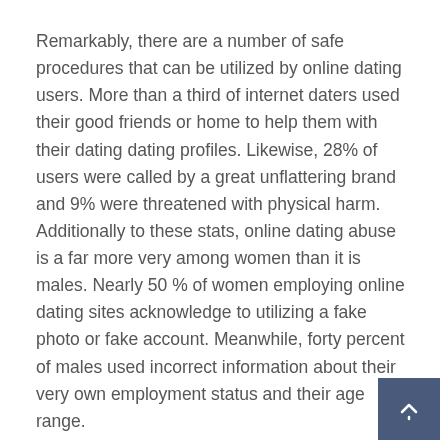Remarkably, there are a number of safe procedures that can be utilized by online dating users. More than a third of internet daters used their good friends or home to help them with their dating dating profiles. Likewise, 28% of users were called by a great unflattering brand and 9% were threatened with physical harm. Additionally to these stats, online dating abuse is a far more very among women than it is males. Nearly 50 % of women employing online dating sites acknowledge to utilizing a fake photo or fake account. Meanwhile, forty percent of males used incorrect information about their very own employment status and their age range.
Despite the great benefits of online dating sites, many people still have several skepticism about